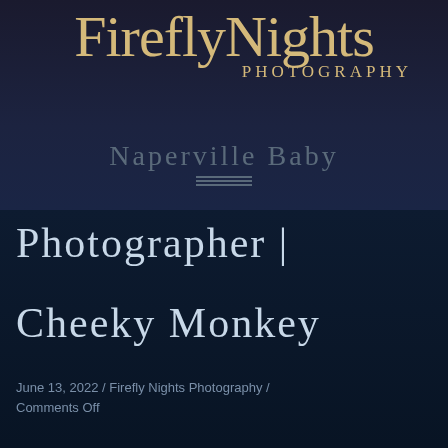[Figure (logo): FireflyNights Photography logo with golden serif text on dark navy background]
Naperville Baby
Photographer |
Cheeky Monkey
June 13, 2022 / Firefly Nights Photography / Comments Off